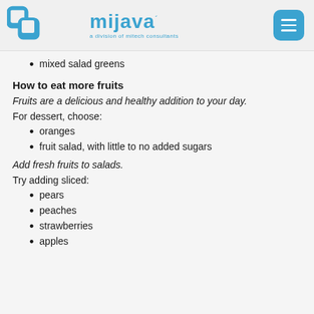mijava — a division of mitech consultants
mixed salad greens
How to eat more fruits
Fruits are a delicious and healthy addition to your day.
For dessert, choose:
oranges
fruit salad, with little to no added sugars
Add fresh fruits to salads.
Try adding sliced:
pears
peaches
strawberries
apples